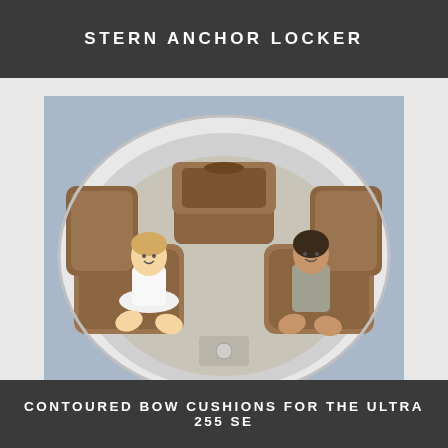STERN ANCHOR LOCKER
[Figure (photo): Aerial view of a boat stern seating area with brown contoured cushions. A young blonde girl in a white dress sits on the left bow cushion, and a brunette woman in a gray top sits on the right bow cushion. A center seat/backrest is visible in the middle, and the white fiberglass hull forms a curved surround.]
CONTOURED BOW CUSHIONS FOR THE ULTRA 255 SE